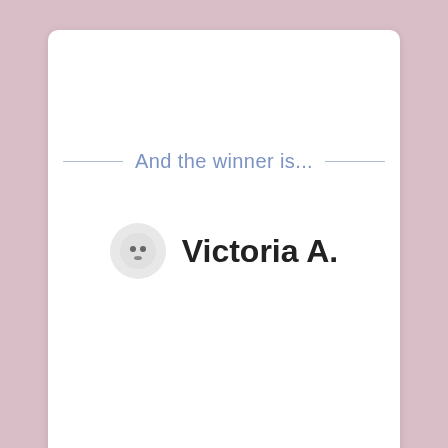And the winner is...
Victoria A.
Do you run giveaways, too? Try Rafflecopter! It's free.
powered by Rafflecopter